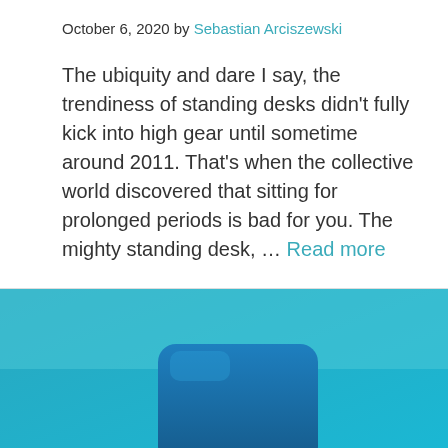October 6, 2020 by Sebastian Arciszewski
The ubiquity and dare I say, the trendiness of standing desks didn't fully kick into high gear until sometime around 2011. That's when the collective world discovered that sitting for prolonged periods is bad for you. The mighty standing desk, … Read more
[Figure (photo): Blue chair against a blue background, photographed from above or at an angle, showing a teal/cyan colored padded chair seat on a light blue surface]